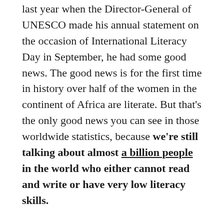last year when the Director-General of UNESCO made his annual statement on the occasion of International Literacy Day in September, he had some good news. The good news is for the first time in history over half of the women in the continent of Africa are literate. But that's the only good news you can see in those worldwide statistics, because we're still talking about almost a billion people in the world who either cannot read and write or have very low literacy skills.
In this country, the current estimates of the extent of adult low literacy are based primarily on the surveys that were taken in the early 1990's. At that time we estimated that there were about ninety million adults with low literacy skills, about half of